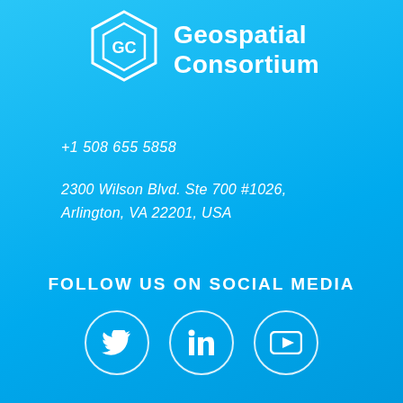[Figure (logo): Geospatial Consortium logo with geometric GC icon and text 'Geospatial Consortium' in white]
+1 508 655 5858
2300 Wilson Blvd. Ste 700 #1026, Arlington, VA 22201, USA
FOLLOW US ON SOCIAL MEDIA
[Figure (infographic): Three white circle icons for social media: Twitter (bird), LinkedIn (in), YouTube (play button)]